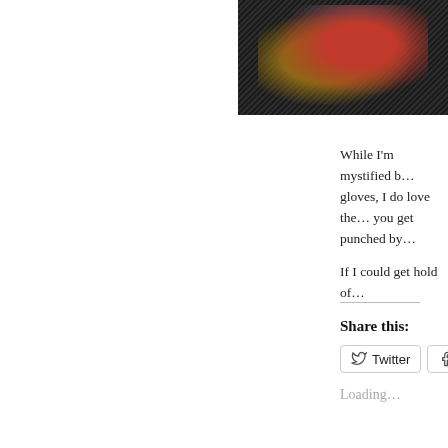[Figure (illustration): Colorful illustration or artwork showing a figure, partially visible in the upper right corner, with diagonal line hatching background in dark tones with red and brown figure elements.]
While I'm mystified by the gloves, I do love the… you get punched by…
If I could get hold of…
Share this:
Loading...